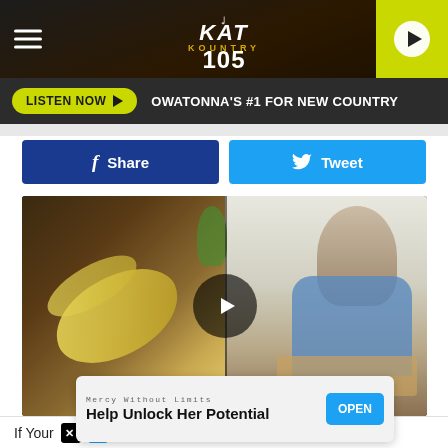KAT Kountry 105 — Navigation and logo header
LISTEN NOW ▶  OWATONNA'S #1 FOR NEW COUNTRY
[Figure (screenshot): Facebook Share button (blue) and Twitter Tweet button (blue)]
[Figure (screenshot): Video thumbnail showing a banana being peeled on the left and a man in a blue shirt chopping vegetables on the right, with a circular play button overlay in the center]
[Figure (screenshot): Advertisement banner: 'Mercy Without Limits / Help Unlock Her Potential' with an OPEN button]
If Your